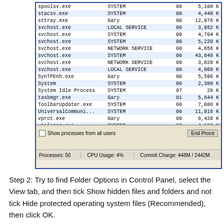[Figure (screenshot): Windows Task Manager screenshot showing a list of processes with columns for Image Name, User Name, CPU, and Mem Usage. Processes listed include spoolsv.exe, stacsv.exe, sttray.exe, svchost.exe (multiple), SynTPEnh.exe, System, System Idle Process, taskmgr.exe, ToolbarUpdater.exe, UniversalCommuni..., vprot.exe, winlogon.exe, wminrvse.exe. Bottom shows Show processes from all users checkbox and End Process button. Status bar shows Processes: 50, CPU Usage: 4%, Commit Charge: 448M / 2442M.]
Step 2: Try to find Folder Options in Control Panel, select the View tab, and then tick Show hidden files and folders and not tick Hide protected operating system files (Recommended), then click OK.